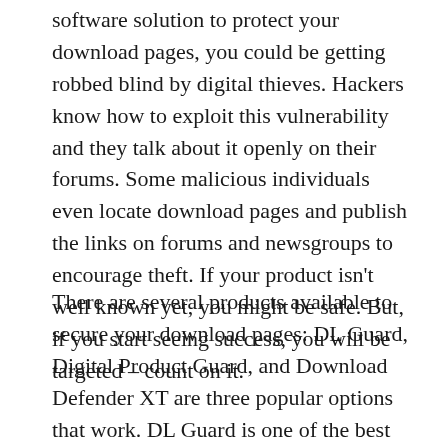software solution to protect your download pages, you could be getting robbed blind by digital thieves. Hackers know how to exploit this vulnerability and they talk about it openly on their forums. Some malicious individuals even locate download pages and publish the links on forums and newsgroups to encourage theft. If your product isn't well known yet, you might be safe. But, if you start seeing success, you will be targeted – count on it.
There are several products available to secure your download pages: DL Guard, Digital Product Guard, and Download Defender XT are three popular options that work. DL Guard is one of the best solutions available.